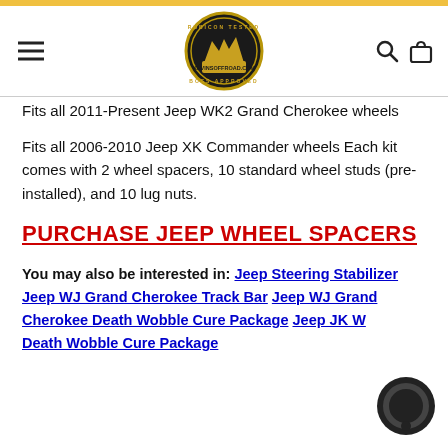KevinsOffRoad.com header with hamburger menu, logo, search icon, and cart icon
Fits all 2011-Present Jeep WK2 Grand Cherokee wheels
Fits all 2006-2010 Jeep XK Commander wheels Each kit comes with 2 wheel spacers, 10 standard wheel studs (pre-installed), and 10 lug nuts.
PURCHASE JEEP WHEEL SPACERS
You may also be interested in: Jeep Steering Stabilizer Jeep WJ Grand Cherokee Track Bar Jeep WJ Grand Cherokee Death Wobble Cure Package Jeep JK Wrangler Death Wobble Cure Package